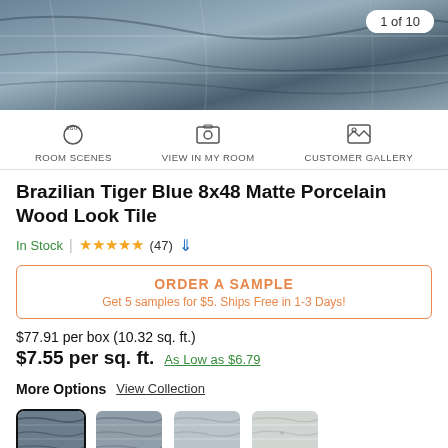[Figure (photo): Product image of Brazilian Tiger Blue porcelain tile with blue-grey marble-like pattern]
1 of 10
ROOM SCENES
VIEW IN MY ROOM
CUSTOMER GALLERY
Brazilian Tiger Blue 8x48 Matte Porcelain Wood Look Tile
In Stock | ★★★★★ (47)
ORDER A SAMPLE
Get 5 samples for $5. Ships Free in 1-3 Days!
$77.91 per box (10.32 sq. ft.)
$7.55 per sq. ft.  As Low as $6.79
More Options  View Collection
[Figure (photo): Four tile color swatches showing different variants of the wood-look porcelain tile]